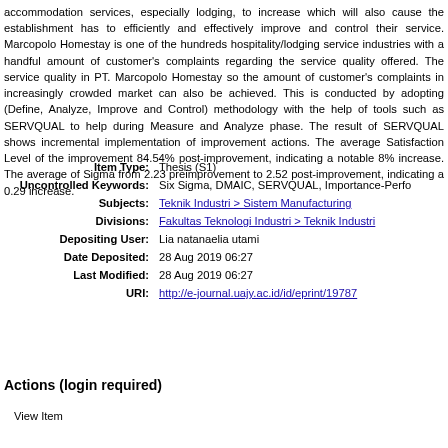accommodation services, especially lodging, to increase which will also cause establishment has to efficiently and effectively improve and control their service. Marcopolo Homestay is one of the hundreds hospitality/lodging service industries handful amount of customer's complaints regarding the service quality offered. service quality in PT. Marcopolo Homestay so the amount of customer's complaints increasingly crowded market can also be achieved. This is conducted by adopting Analyze, Improve and Control) methodology with the help of tools such as SERVQUAL help during Measure and Analyze phase. The result of SERVQUAL shows incremental implementation of improvement actions. The average Satisfaction Level of the improvement 84.54% post-improvement, indicating a notable 8% increase. The average of Sigma 2.23 preimprovement to 2.52 post-improvement, indicating a 0.29 increase.
| Field | Value |
| --- | --- |
| Item Type: | Thesis (S1) |
| Uncontrolled Keywords: | Six Sigma, DMAIC, SERVQUAL, Importance-Performance |
| Subjects: | Teknik Industri > Sistem Manufacturing |
| Divisions: | Fakultas Teknologi Industri > Teknik Industri |
| Depositing User: | Lia natanaelia utami |
| Date Deposited: | 28 Aug 2019 06:27 |
| Last Modified: | 28 Aug 2019 06:27 |
| URI: | http://e-journal.uajy.ac.id/id/eprint/19787 |
Actions (login required)
View Item